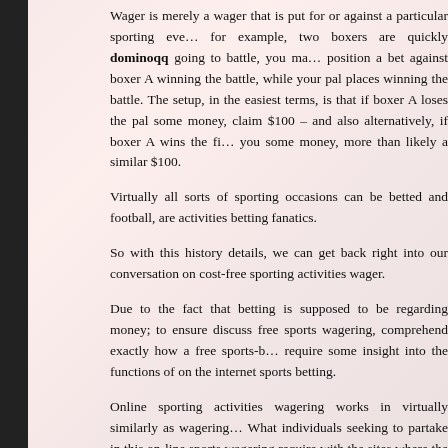Wager is merely a wager that is put for or against a particular sporting event – for example, two boxers are quickly dominoqq going to battle, you may position a bet against boxer A winning the battle, while your pal places winning the battle. The setup, in the easiest terms, is that if boxer A loses the pal some money, claim $100 – and also alternatively, if boxer A wins the fight you some money, more than likely a similar $100.
Virtually all sorts of sporting occasions can be betted and football, are activities betting fanatics.
So with this history details, we can get back right into our conversation on cost-free sporting activities wager.
Due to the fact that betting is supposed to be regarding money; to ensure discuss free sports wagering, comprehend exactly how a free sports-b require some insight into the functions of on the internet sports betting.
Online sporting activities wagering works in virtually similarly as wagering. What individuals seeking to partake in this on-line sports wagering require with the sites where the wagering occurs, produce accounts there, download money they would be utilizing to make the wagers there, and afterwards bets making use of that money. The wager now comes to be an asset, with a
So when somebody informs you that they can offer you a free sports b